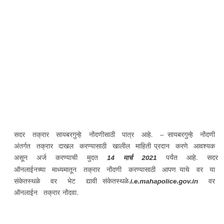सदर  तक्रार  सायबरगुन्हे  नोंदणीसाठी  पात्र  आहे.  – सायबरगुन्हे  नोंदणी  अंतर्गत  तक्रार  दाखल  करण्यासाठी  खालील  माहिती  प्रदान  करणे  आवश्यक  असून  अर्ज  करण्याची  मुदत  14  मार्च  2021  पर्यंत  आहे.  सदर  ऑनलाईनच्या  माध्यमातून  तक्रार  नोंदणी  करण्यासाठी  आपण  याचे  वर  या  संकेतस्थळे  वर  भेट  द्यावी.i.e.mahapolice.gov.in  वर  ऑनलाईन  तक्रार नोंदवा.